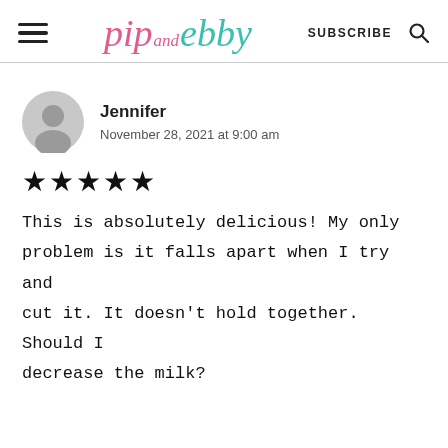pip and ebby — SUBSCRIBE
Jennifer
November 28, 2021 at 9:00 am
★★★★★
This is absolutely delicious! My only problem is it falls apart when I try and cut it. It doesn't hold together. Should I decrease the milk?